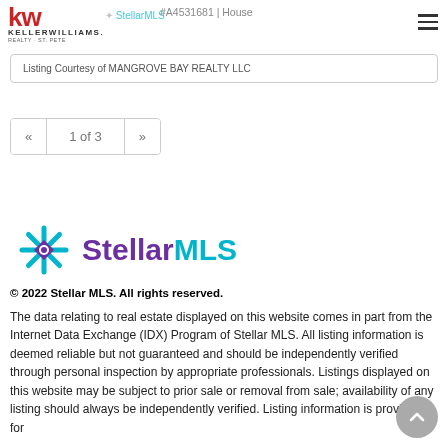KW KELLERWILLIAMS REALTY ST. PETE
#A4531681 | House
Listing Courtesy of MANGROVE BAY REALTY LLC
1 of 3
[Figure (logo): Stellar MLS logo with starburst icon in teal and purple text]
© 2022 Stellar MLS. All rights reserved.
The data relating to real estate displayed on this website comes in part from the Internet Data Exchange (IDX) Program of Stellar MLS. All listing information is deemed reliable but not guaranteed and should be independently verified through personal inspection by appropriate professionals. Listings displayed on this website may be subject to prior sale or removal from sale; availability of any listing should always be independently verified. Listing information is provided for